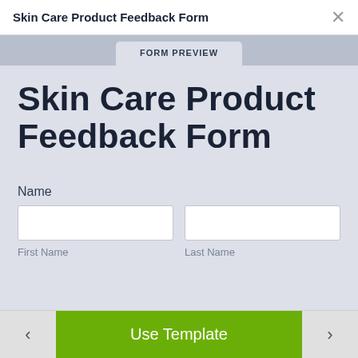Skin Care Product Feedback Form
FORM PREVIEW
Skin Care Product Feedback Form
Name
First Name
Last Name
Use Template